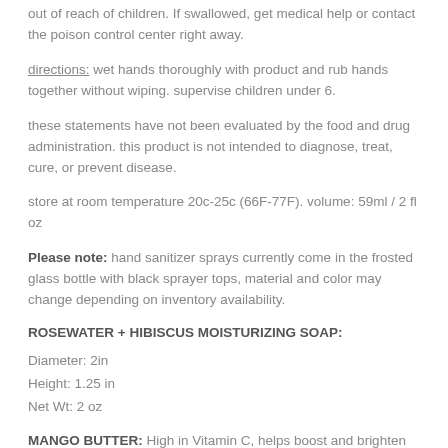out of reach of children. If swallowed, get medical help or contact the poison control center right away.
directions: wet hands thoroughly with product and rub hands together without wiping. supervise children under 6.
these statements have not been evaluated by the food and drug administration. this product is not intended to diagnose, treat, cure, or prevent disease.
store at room temperature 20c-25c (66F-77F). volume: 59ml / 2 fl oz
Please note: hand sanitizer sprays currently come in the frosted glass bottle with black sprayer tops, material and color may change depending on inventory availability.
ROSEWATER + HIBISCUS MOISTURIZING SOAP:
Diameter: 2in
Height: 1.25 in
Net Wt: 2 oz
MANGO BUTTER: High in Vitamin C, helps boost and brighten skin. Vitamin A helps to increase the skin's youthful appearance, reducing